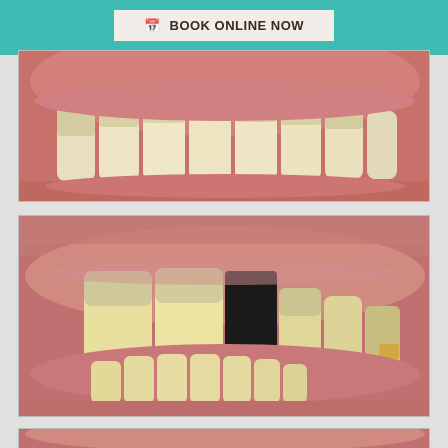[Figure (photo): Teal header bar with a 'Book Online Now' button in the center]
[Figure (photo): Close-up dental photograph showing upper teeth row with yellowish color and visible gum tissue]
[Figure (photo): Close-up dental photograph showing missing tooth gap in upper jaw with remaining yellowed teeth and gum tissue]
[Figure (photo): Partial view of another dental close-up photograph at the bottom of the page]